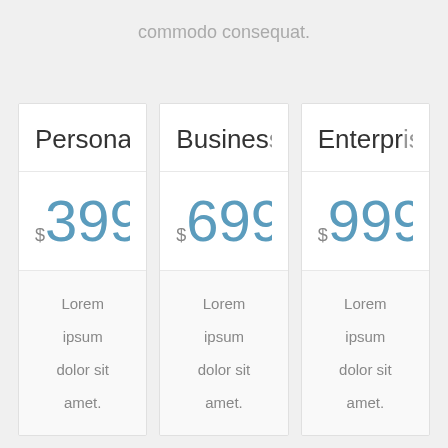commodo consequat.
| Personal | Business | Enterprise |
| --- | --- | --- |
| $399 | $699 | $999 |
| Lorem ipsum dolor sit amet. | Lorem ipsum dolor sit amet. | Lorem ipsum dolor sit amet. |